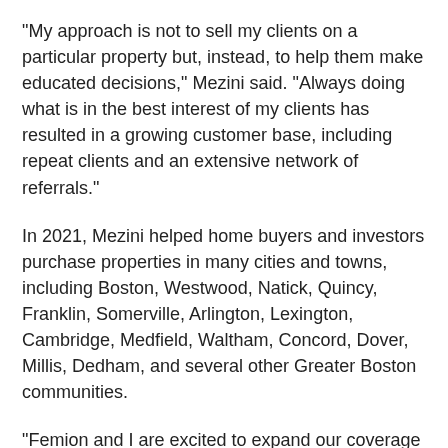"My approach is not to sell my clients on a particular property but, instead, to help them make educated decisions," Mezini said. "Always doing what is in the best interest of my clients has resulted in a growing customer base, including repeat clients and an extensive network of referrals."
In 2021, Mezini helped home buyers and investors purchase properties in many cities and towns, including Boston, Westwood, Natick, Quincy, Franklin, Somerville, Arlington, Lexington, Cambridge, Medfield, Waltham, Concord, Dover, Millis, Dedham, and several other Greater Boston communities.
"Femion and I are excited to expand our coverage area and provide clients with an even higher level of customer service," Lord said. "Providing clients with professional advice and hands-on and patient representation makes for a smooth and efficient home-buying process."